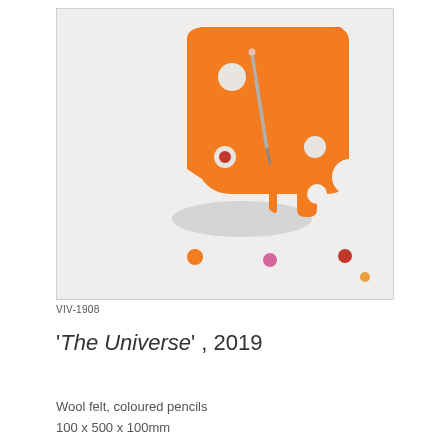[Figure (photo): Photograph of an orange wool felt sculpture resembling an abstract face/creature shape with circular holes, a pencil inserted through it, and small coloured felt balls (orange, pink, red) scattered below on a white background.]
VIV-1908
'The Universe' , 2019
Wool felt, coloured pencils
100 x 500 x 100mm